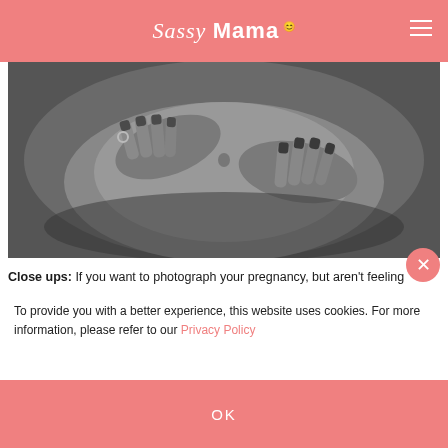Sassy Mama
[Figure (photo): Black and white close-up photo of pregnant woman's belly with hands resting on it, dark painted fingernails visible]
Close ups: If you want to photograph your pregnancy, but aren't feeling camera confident, then close-ups and details could be the answer. Showing just your bump in a profile shot with or without hands, and in tasteful and kind details along...
To provide you with a better experience, this website uses cookies. For more information, please refer to our Privacy Policy
OK